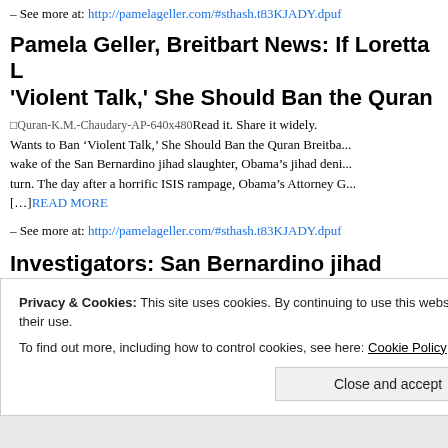– See more at: http://pamelageller.com/#sthash.t83KJADY.dpuf
Pamela Geller, Breitbart News: If Loretta Lynch 'Violent Talk,' She Should Ban the Quran
[Figure (other): Broken image placeholder: Quran-K.M.-Chaudary-AP-640x480]
Read it. Share it widely. Wants to Ban ‘Violent Talk,’ She Should Ban the Quran Breitba... wake of the San Bernardino jihad slaughter, Obama’s jihad deni... turn. The day after a horrific ISIS rampage, Obama’s Attorney G... [...]READ MORE
– See more at: http://pamelageller.com/#sthash.t83KJADY.dpuf
Investigators: San Bernardino jihad killer
Privacy & Cookies: This site uses cookies. By continuing to use this website, you agree to their use.
To find out more, including how to control cookies, see here: Cookie Policy